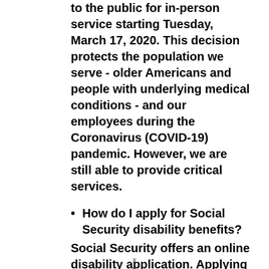to the public for in-person service starting Tuesday, March 17, 2020. This decision protects the population we serve - older Americans and people with underlying medical conditions - and our employees during the Coronavirus (COVID-19) pandemic. However, we are still able to provide critical services.
How do I apply for Social Security disability benefits?
Social Security offers an online disability application. Applying online for disability benefits offers several advantages: 1. You can start your disability claim immediately. There is no need to wait for an appointment; 2. You can
x